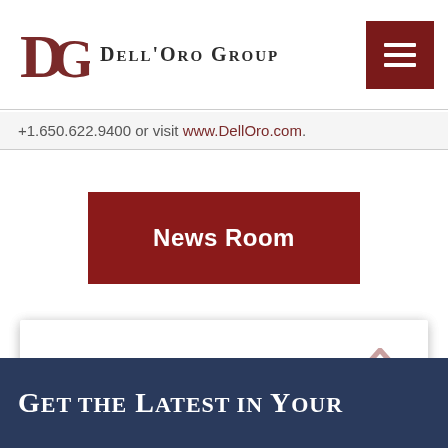Dell'Oro Group
+1.650.622.9400 or visit www.DellOro.com.
News Room
Press Contact:
Get the Latest in Your